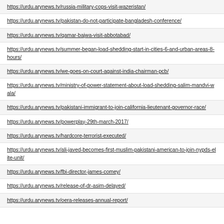https://urdu.arynews.tv/russia-military-cops-visit-wazeristan/
https://urdu.arynews.tv/pakistan-do-not-participate-bangladesh-conference/
https://urdu.arynews.tv/qamar-bajwa-visit-abbotabad/
https://urdu.arynews.tv/summer-began-load-shedding-start-in-cities-6-and-urban-areas-8-hours/
https://urdu.arynews.tv/we-goes-on-court-against-india-chairman-pcb/
https://urdu.arynews.tv/ministry-of-power-statement-about-load-shedding-salim-mandvi-wala/
https://urdu.arynews.tv/pakistani-immigrant-to-join-california-lieutenant-governor-race/
https://urdu.arynews.tv/powerplay-29th-march-2017/
https://urdu.arynews.tv/hardcore-terrorist-executed/
https://urdu.arynews.tv/ali-javed-becomes-first-muslim-pakistani-american-to-join-nypds-elite-unit/
https://urdu.arynews.tv/fbi-director-james-comey/
https://urdu.arynews.tv/release-of-dr-asim-delayed/
https://urdu.arynews.tv/oera-releases-annual-report/